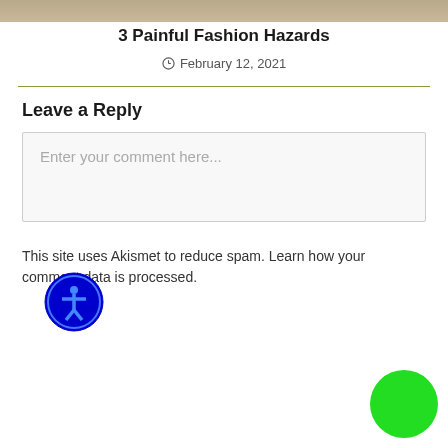[Figure (photo): Partial image visible at top of page]
3 Painful Fashion Hazards
February 12, 2021
Leave a Reply
Enter your comment here...
This site uses Akismet to reduce spam. Learn how your comment data is processed.
[Figure (illustration): Blue circle accessibility icon with human figure]
[Figure (illustration): Green circle button at bottom right]